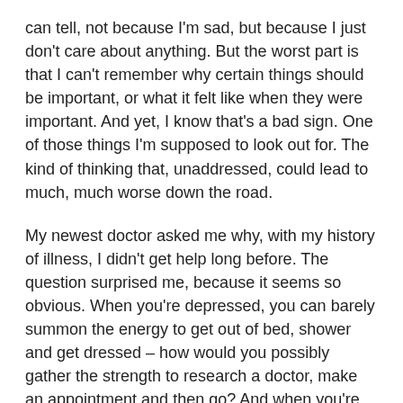can tell, not because I'm sad, but because I just don't care about anything. But the worst part is that I can't remember why certain things should be important, or what it felt like when they were important. And yet, I know that's a bad sign. One of those things I'm supposed to look out for. The kind of thinking that, unaddressed, could lead to much, much worse down the road.
My newest doctor asked me why, with my history of illness, I didn't get help long before. The question surprised me, because it seems so obvious. When you're depressed, you can barely summon the energy to get out of bed, shower and get dressed – how would you possibly gather the strength to research a doctor, make an appointment and then go? And when you're not depressed…well, there's nothing to cure, is there?